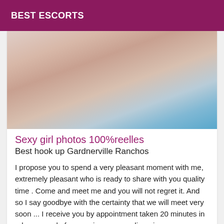BEST ESCORTS
[Figure (photo): Photo of a person in swimwear near a pool]
Sexy girl photos 100%reelles
Best hook up Gardnerville Ranchos
I propose you to spend a very pleasant moment with me, extremely pleasant who is ready to share with you quality time . Come and meet me and you will not regret it. And so I say goodbye with the certainty that we will meet very soon ... I receive you by appointment taken 20 minutes in advance and of course in very sexy lingerie.